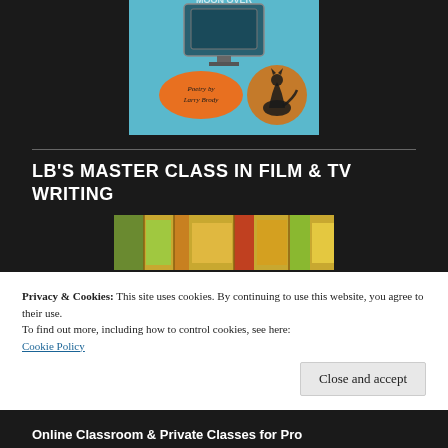[Figure (photo): Book cover with blue background showing 'Poetry by Larry Brody' on an orange oval badge and a wolf silhouette against a moon, with a TV/screen shape at top.]
LB'S MASTER CLASS IN FILM & TV WRITING
[Figure (photo): Colorful illustrated image, partial view of a building or room interior with warm yellows, greens, and reds.]
Privacy & Cookies: This site uses cookies. By continuing to use this website, you agree to their use.
To find out more, including how to control cookies, see here:
Cookie Policy
Close and accept
Online Classroom & Private Classes for Pro